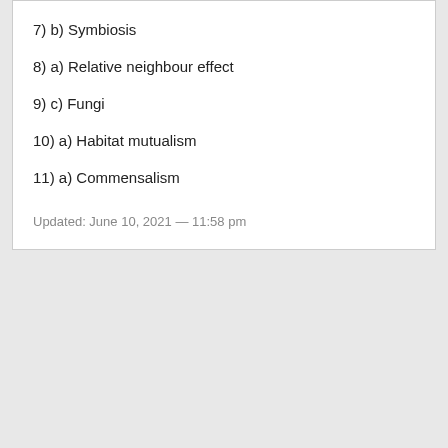7) b) Symbiosis
8) a) Relative neighbour effect
9) c) Fungi
10) a) Habitat mutualism
11) a) Commensalism
Updated: June 10, 2021 — 11:58 pm